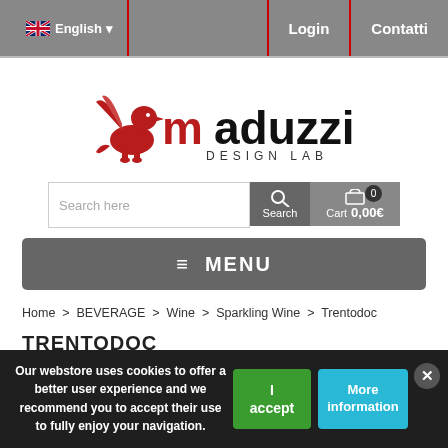English  |  Login  |  Contatti
[Figure (logo): Maduzzi Design Lab logo — red griffin with wings, text 'maduzzi DESIGN LAB' in red and black]
Search here   Search   Cart  0  0,00€
≡ MENU
Home > BEVERAGE > Wine > Sparkling Wine > Trentodoc
TRENTODOC
Our webstore uses cookies to offer a better user experience and we recommend you to accept their use to fully enjoy your navigation.
I accept
More information